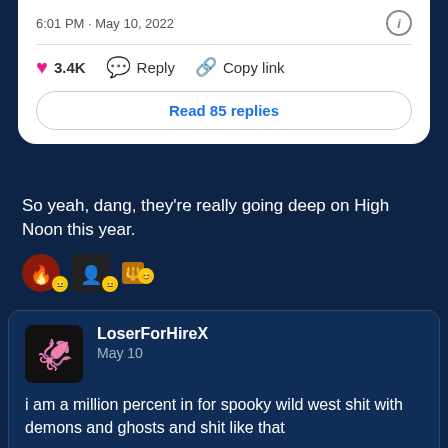6:01 PM · May 10, 2022
3.4K   Reply   Copy link
Read 85 replies
So yeah, dang, they're really going deep on High Noon this year.
[Figure (illustration): Small emoji/avatar reaction icons row]
LoserForHireX
May 10
i am a million percent in for spooky wild west shit with demons and ghosts and shit like that

give it to me all